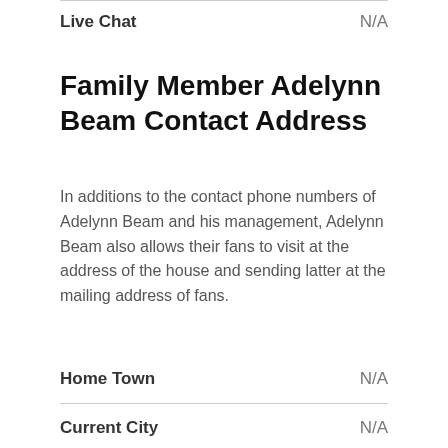|  |  |
| --- | --- |
| Live Chat | N/A |
Family Member Adelynn Beam Contact Address
In additions to the contact phone numbers of Adelynn Beam and his management, Adelynn Beam also allows their fans to visit at the address of the house and sending latter at the mailing address of fans.
|  |  |
| --- | --- |
| Home Town | N/A |
| Current City | N/A |
| Residence Address | N/A |
| Mailing Address for Fans | N/A |